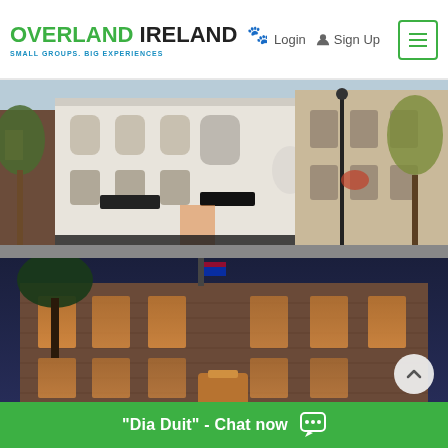[Figure (screenshot): Website header of Overland Ireland with logo (green 'OVERLAND' + dark 'IRELAND' text, tagline 'SMALL GROUPS. BIG EXPERIENCES'), Login link, Sign Up button, and hamburger menu icon in green border.]
[Figure (photo): Daytime photo of a white classical European-style building on a street corner with autumn trees and a lamp post.]
[Figure (photo): Evening/night photo of a lit brick building facade with warm lights glowing from windows.]
"Dia Duit" - Chat now